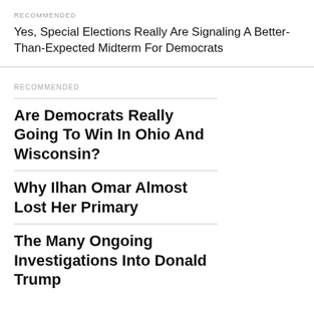RECOMMENDED
Yes, Special Elections Really Are Signaling A Better-Than-Expected Midterm For Democrats
RECOMMENDED
Are Democrats Really Going To Win In Ohio And Wisconsin?
Why Ilhan Omar Almost Lost Her Primary
The Many Ongoing Investigations Into Donald Trump